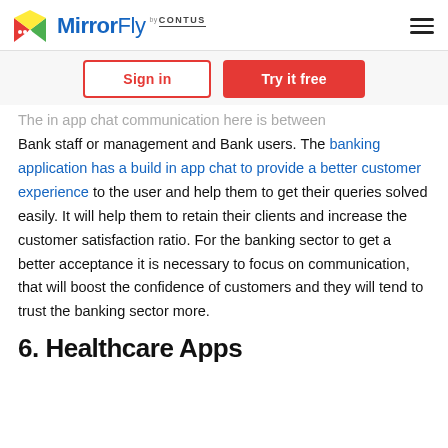MirrorFly by CONTUS
Sign in | Try it free
The in app chat communication here is between Bank staff or management and Bank users. The banking application has a build in app chat to provide a better customer experience to the user and help them to get their queries solved easily. It will help them to retain their clients and increase the customer satisfaction ratio. For the banking sector to get a better acceptance it is necessary to focus on communication, that will boost the confidence of customers and they will tend to trust the banking sector more.
6. Healthcare Apps